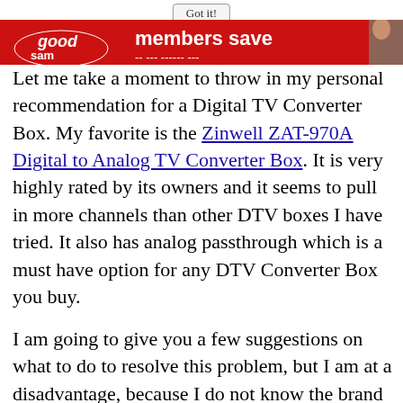[Figure (screenshot): Got it! button overlay at top of page above a partial banner image showing 'good sam members save' text in red/orange with a person partially visible on the right]
Let me take a moment to throw in my personal recommendation for a Digital TV Converter Box. My favorite is the Zinwell ZAT-970A Digital to Analog TV Converter Box. It is very highly rated by its owners and it seems to pull in more channels than other DTV boxes I have tried. It also has analog passthrough which is a must have option for any DTV Converter Box you buy.
I am going to give you a few suggestions on what to do to resolve this problem, but I am at a disadvantage, because I do not know the brand of DTV Converter Box you have and how you